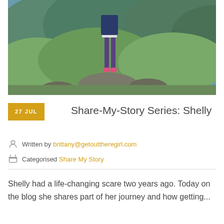[Figure (photo): Person standing on a rocky outcrop overlooking a green hilly landscape with mountains in the background. Only the lower body (legs in purple leggings and pink shoes) is visible.]
Share-My-Story Series: Shelly
Written by brittany@getouttheregirl.com
Categorised Share My Story
Shelly had a life-changing scare two years ago. Today on the blog she shares part of her journey and how getting...